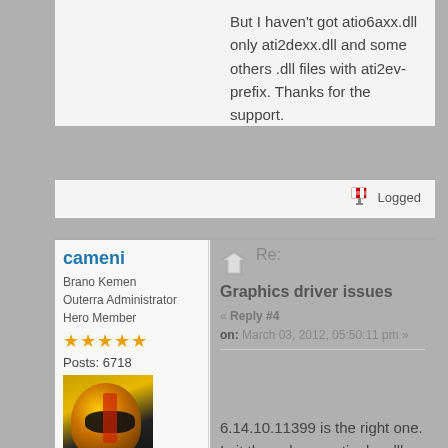But I haven't got atio6axx.dll only ati2dexx.dll and some others .dll files with ati2ev- prefix. Thanks for the support.
Logged
cameni
Brano Kemen
Outerra Administrator
Hero Member
Posts: 6718
[Figure (photo): User avatar showing a person in a yellow/orange helmet with dark visor]
No sense of urgency.
[Figure (illustration): Globe icon]
Re:
Graphics driver issues
« Reply #4
on: March 03, 2012, 05:50:11 pm »
6.14.10.11399 is the right one. Is it the only one atioglxx.dll you have got there? And please attach your app.log